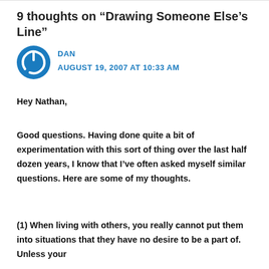9 thoughts on “Drawing Someone Else’s Line”
[Figure (illustration): Blue circular avatar icon with a power symbol in the center]
DAN
AUGUST 19, 2007 AT 10:33 AM
Hey Nathan,
Good questions. Having done quite a bit of experimentation with this sort of thing over the last half dozen years, I know that I’ve often asked myself similar questions. Here are some of my thoughts.
(1) When living with others, you really cannot put them into situations that they have no desire to be a part of. Unless your